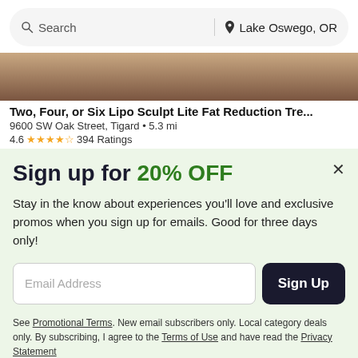Search | Lake Oswego, OR
[Figure (photo): Partial photo of a person, cropped, brownish tones visible at top of page]
Two, Four, or Six Lipo Sculpt Lite Fat Reduction Tre...
9600 SW Oak Street, Tigard • 5.3 mi
4.6 ★★★★✬ 394 Ratings
Sign up for 20% OFF
Stay in the know about experiences you'll love and exclusive promos when you sign up for emails. Good for three days only!
Email Address
Sign Up
See Promotional Terms. New email subscribers only. Local category deals only. By subscribing, I agree to the Terms of Use and have read the Privacy Statement